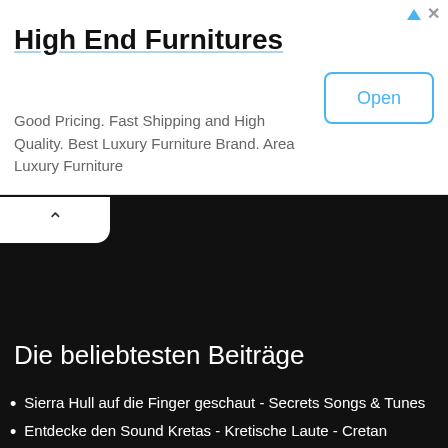[Figure (screenshot): Advertisement banner for High End Furnitures with Open button]
High End Furnitures
Good Pricing. Fast Shipping and High Quality. Best Luxury Furniture Brand. Area Luxury Furniture
[Figure (screenshot): Dark black background area with a white collapse/chevron-up tab button]
Die beliebtesten Beiträge
Sierra Hull auf die Finger geschaut - Secrets Songs & Tunes
Entdecke den Sound Kretas - Kretische Laute - Cretan